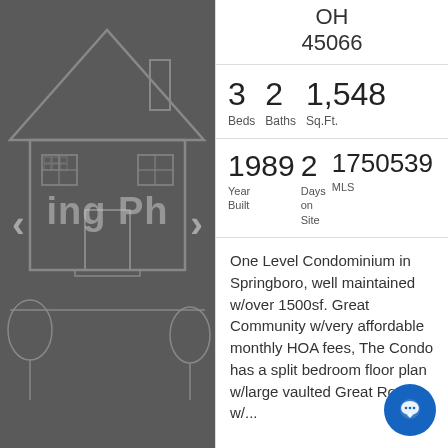[Figure (illustration): Placeholder house illustration with navigation arrows showing 'ing Ph' watermark text on dark gray background]
OH
45066
| 3 Beds | 2 Baths | 1,548 Sq.Ft. |
| 1989 Year Built | 2 Days on Site | 1750539 MLS |
One Level Condominium in Springboro, well maintained w/over 1500sf. Great Community w/very affordable monthly HOA fees, The Condo has a split bedroom floor plan w/large vaulted Great Room w/...